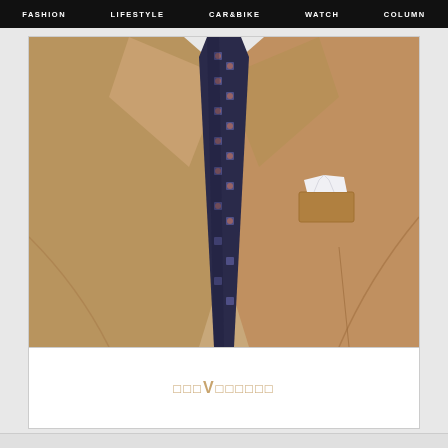FASHION   LIFESTYLE   CAR&BIKE   WATCH   COLUMN
[Figure (photo): Close-up photo of a tan/camel colored men's blazer jacket with a dark navy patterned tie and white pocket square visible]
□□□V□□□□□□